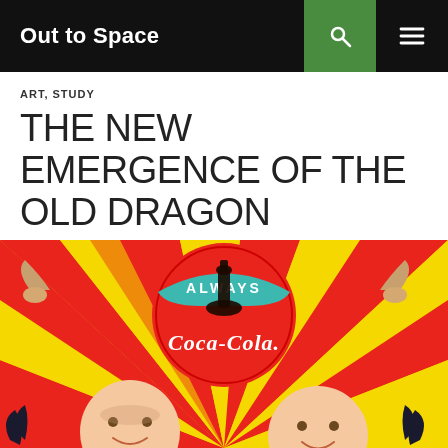Out to Space
ART, STUDY
THE NEW EMERGENCE OF THE OLD DRAGON
09 NOV 2008   'PONG   LEAVE A COMMENT
[Figure (photo): Colorful pop-art style painting featuring a Coca-Cola bottle in the center on a red circular background with the word ALWAYS above. Radiating yellow and red checkerboard beams fill the background. Baby faces appear at the bottom and bird/angel figures at the sides.]